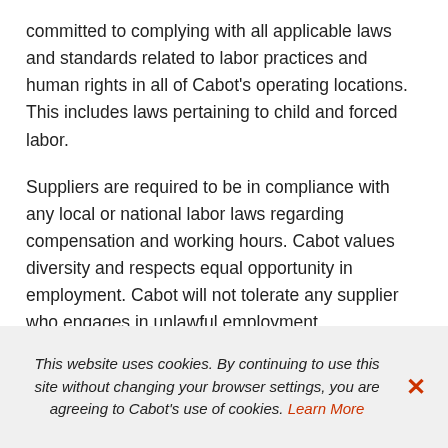committed to complying with all applicable laws and standards related to labor practices and human rights in all of Cabot's operating locations. This includes laws pertaining to child and forced labor.
Suppliers are required to be in compliance with any local or national labor laws regarding compensation and working hours. Cabot values diversity and respects equal opportunity in employment. Cabot will not tolerate any supplier who engages in unlawful employment discrimination, child labor or
This website uses cookies. By continuing to use this site without changing your browser settings, you are agreeing to Cabot's use of cookies. Learn More